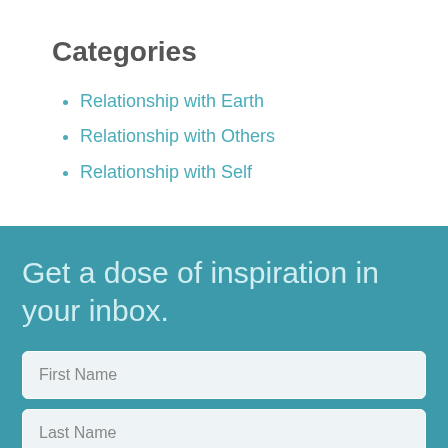Categories
Relationship with Earth
Relationship with Others
Relationship with Self
Get a dose of inspiration in your inbox.
First Name
Last Name